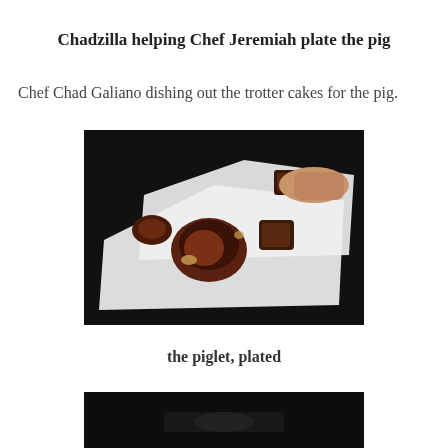Chadzilla helping Chef Jeremiah plate the pig
Chef Chad Galiano dishing out the trotter cakes for the pig.
[Figure (photo): Photo of trotter cakes plated on a white rectangular plate, being served by a chef's hand. Dark background.]
the piglet, plated
[Figure (photo): Partially visible photo at bottom of page, dark image.]